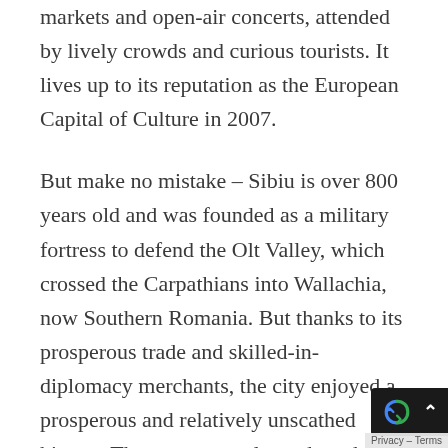markets and open-air concerts, attended by lively crowds and curious tourists. It lives up to its reputation as the European Capital of Culture in 2007.
But make no mistake – Sibiu is over 800 years old and was founded as a military fortress to defend the Olt Valley, which crossed the Carpathians into Wallachia, now Southern Romania. But thanks to its prosperous trade and skilled-in-diplomacy merchants, the city enjoyed a prosperous and relatively unscathed history. There are many legends and stories of how buildings that belonged to various merchant guilds have been upgraded over time into th...